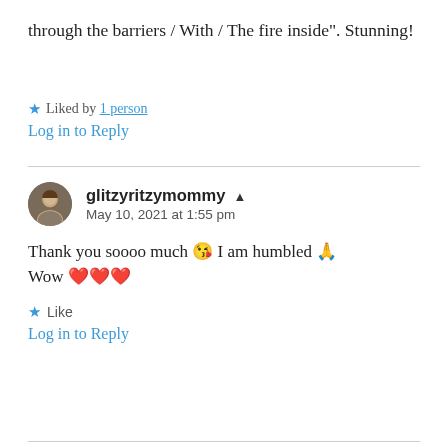through the barriers / With / The fire inside". Stunning!
Liked by 1 person
Log in to Reply
glitzyritzymommy
May 10, 2021 at 1:55 pm
Thank you soooo much 😘 I am humbled 🙏 Wow ❤️❤️❤️
Like
Log in to Reply